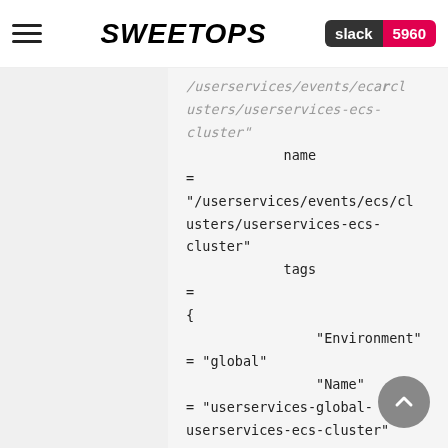SweetOps  slack 5960
/userservices/events/ecarclusters/userservices-ecs-cluster"
            name                = "/userservices/events/ecs/clusters/userservices-ecs-cluster"
            tags                = {
                "Environment" = "global"
                "Name"        = "userservices-global-userservices-ecs-cluster"
                "Namespace"   = "userservices"
                "bamazon:app" = "userservices-ecs-cluster"
                "bamazon:env" = "global"

"bamazon:namespace" = "bamtech"